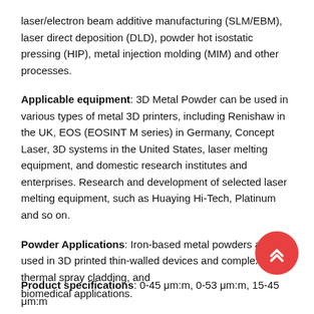laser/electron beam additive manufacturing (SLM/EBM), laser direct deposition (DLD), powder hot isostatic pressing (HIP), metal injection molding (MIM) and other processes.
Applicable equipment: 3D Metal Powder can be used in various types of metal 3D printers, including Renishaw in the UK, EOS (EOSINT M series) in Germany, Concept Laser, 3D systems in the United States, laser melting equipment, and domestic research institutes and enterprises. Research and development of selected laser melting equipment, such as Huaying Hi-Tech, Platinum and so on.
Powder Applications: Iron-based metal powders are used in 3D printed thin-walled devices and complex parts, thermal spray cladding, and biomedical applications.
Product specifications: 0-45 μm:m, 0-53 μm:m, 15-45 μm:m